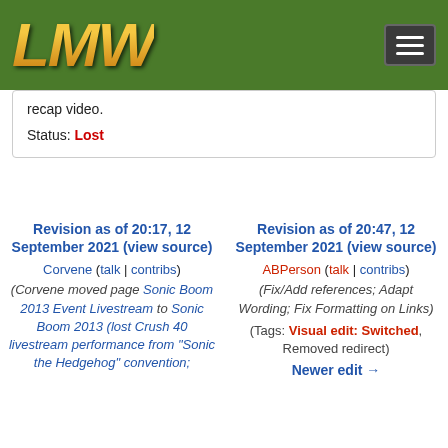LMW (logo) with navigation menu
recap video.
Status: Lost
Revision as of 20:17, 12 September 2021 (view source)
Corvene (talk | contribs)
(Corvene moved page Sonic Boom 2013 Event Livestream to Sonic Boom 2013 (lost Crush 40 livestream performance from "Sonic the Hedgehog" convention;
Revision as of 20:47, 12 September 2021 (view source)
ABPerson (talk | contribs)
(Fix/Add references; Adapt Wording; Fix Formatting on Links)
(Tags: Visual edit: Switched, Removed redirect)
Newer edit →